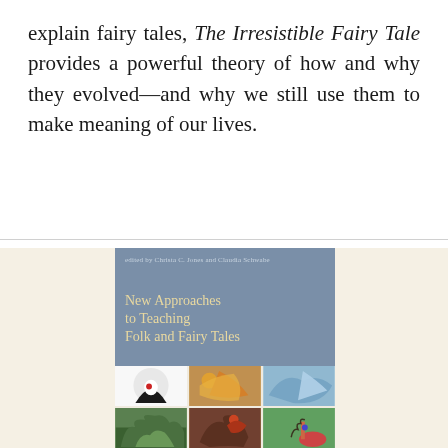explain fairy tales, The Irresistible Fairy Tale provides a powerful theory of how and why they evolved—and why we still use them to make meaning of our lives.
[Figure (illustration): Book cover of 'New Approaches to Teaching Folk and Fairy Tales', edited by Christa C. Jones and Claudia Schwabe. Cover has a blue-grey upper half with the title in gold/cream text, and a lower half showing a 2x3 grid of fairy tale illustration images including Red Riding Hood silhouette, fantastical creatures, Alice in Wonderland, forest scenes, and a dragon.]